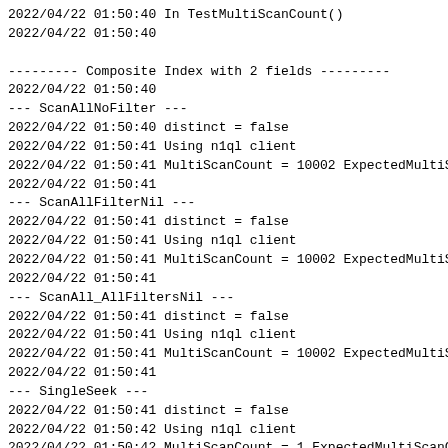2022/04/22 01:50:40 In TestMultiScanCount()
2022/04/22 01:50:40

--------- Composite Index with 2 fields ---------
2022/04/22 01:50:40
--- ScanAllNoFilter ---
2022/04/22 01:50:40 distinct = false
2022/04/22 01:50:41 Using n1ql client
2022/04/22 01:50:41 MultiScanCount = 10002 ExpectedMultiS
2022/04/22 01:50:41
--- ScanAllFilterNil ---
2022/04/22 01:50:41 distinct = false
2022/04/22 01:50:41 Using n1ql client
2022/04/22 01:50:41 MultiScanCount = 10002 ExpectedMultiS
2022/04/22 01:50:41
--- ScanAll_AllFiltersNil ---
2022/04/22 01:50:41 distinct = false
2022/04/22 01:50:41 Using n1ql client
2022/04/22 01:50:41 MultiScanCount = 10002 ExpectedMultiS
2022/04/22 01:50:41
--- SingleSeek ---
2022/04/22 01:50:41 distinct = false
2022/04/22 01:50:42 Using n1ql client
2022/04/22 01:50:42 MultiScanCount = 1 ExpectedMultiScanC
2022/04/22 01:50:42
--- MultipleSeek ---
2022/04/22 01:50:42 distinct = false
2022/04/22 01:50:42 Using n1ql client
2022/04/22 01:50:42 MultiScanCount = 2 ExpectedMultiScanC
2022/04/22 01:50:42